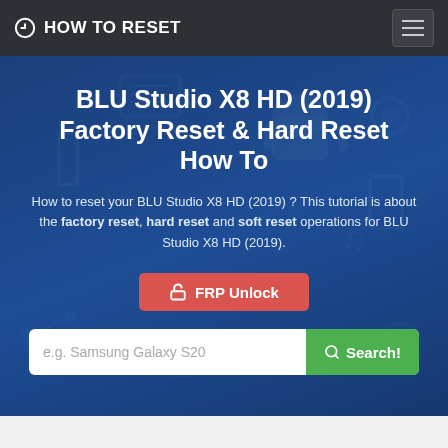HOW TO RESET
BLU Studio X8 HD (2019) Factory Reset & Hard Reset How To
How to reset your BLU Studio X8 HD (2019) ? This tutorial is about the factory reset, hard reset and soft reset operations for BLU Studio X8 HD (2019).
[Figure (screenshot): Red button with lock icon and text 'FRP Unlock']
[Figure (screenshot): Search bar with placeholder 'e.g. Samsung Galaxy S20' and green Search! button]